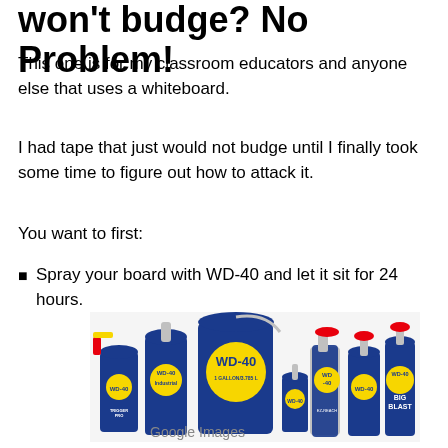won't budge? No Problem!
This one is for my classroom educators and anyone else that uses a whiteboard.
I had tape that just would not budge until I finally took some time to figure out how to attack it.
You want to first:
Spray your board with WD-40 and let it sit for 24 hours.
[Figure (photo): Various WD-40 product cans and spray bottles including Trigger Pro, Industrial, BIG BLAST, EZ-REACH varieties, arranged together on a white background.]
Google Images